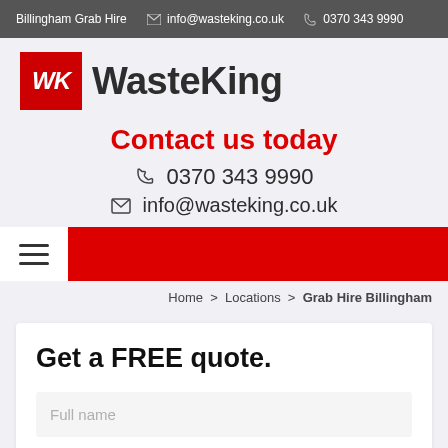Billingham Grab Hire  info@wasteking.co.uk  0370 343 9990
[Figure (logo): WasteKing logo: red box with white italic WK letters, followed by bold dark text WasteKing]
Contact us today
0370 343 9990
info@wasteking.co.uk
Home > Locations > Grab Hire Billingham
Get a FREE quote.
Full name